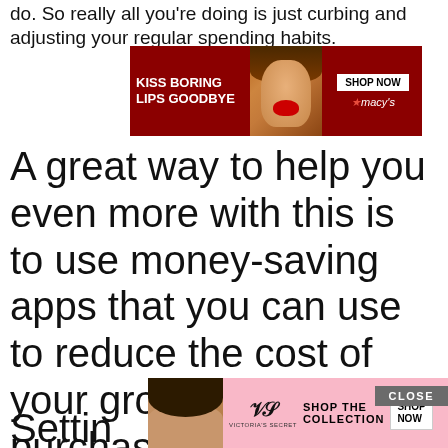do. So really all you're doing is just curbing and adjusting your regular spending habits.
[Figure (photo): Macy's advertisement banner: KISS BORING LIPS GOODBYE with model face, SHOP NOW button and Macy's logo on dark red background]
A great way to help you even more with this is to use money-saving apps that you can use to reduce the cost of your groceri purchases. Take a look on the best money for going shopping.
[Figure (screenshot): Video overlay thumbnail showing colorful swirl cake decoration on left and apple decoration on right with play button in center]
Settin
[Figure (photo): Victoria's Secret advertisement: SHOP THE COLLECTION with SHOP NOW button, pink background with model]
CLOSE